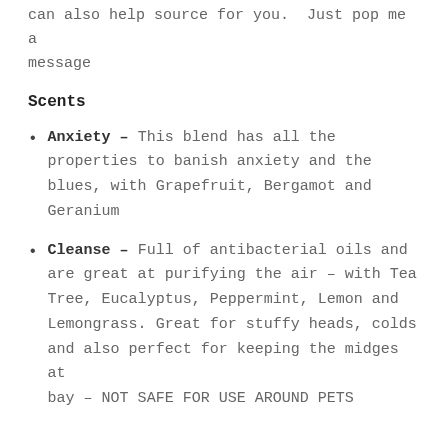can also help source for you.  Just pop me a message
Scents
Anxiety – This blend has all the properties to banish anxiety and the blues, with Grapefruit, Bergamot and Geranium
Cleanse – Full of antibacterial oils and are great at purifying the air – with Tea Tree, Eucalyptus, Peppermint, Lemon and Lemongrass. Great for stuffy heads, colds and also perfect for keeping the midges at bay – NOT SAFE FOR USE AROUND PETS